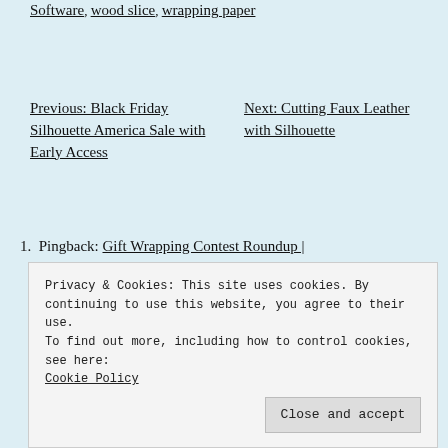Software, wood slice, wrapping paper
Previous: Black Friday Silhouette America Sale with Early Access   Next: Cutting Faux Leather with Silhouette
Pingback: Gift Wrapping Contest Roundup |
Leave a Reply
Enter your comment here...
Privacy & Cookies: This site uses cookies. By continuing to use this website, you agree to their use.
To find out more, including how to control cookies, see here: Cookie Policy